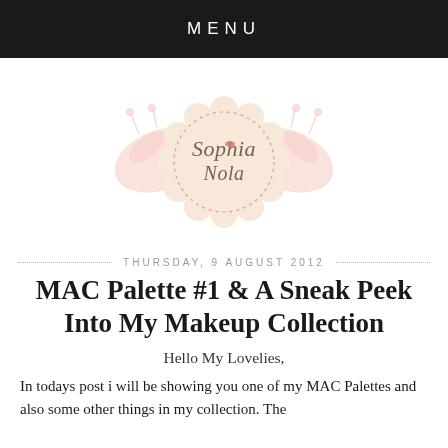MENU
[Figure (logo): Sophia Mela blog logo: a decorative scalloped circular badge in cream with dotted border, surrounded by pink floral/leaf flourishes, with cursive script reading 'Sophia Mela']
THURSDAY, 9 AUGUST 2012
MAC Palette #1 & A Sneak Peek Into My Makeup Collection
Hello My Lovelies,
In todays post i will be showing you one of my MAC Palettes and also some other things in my collection. The